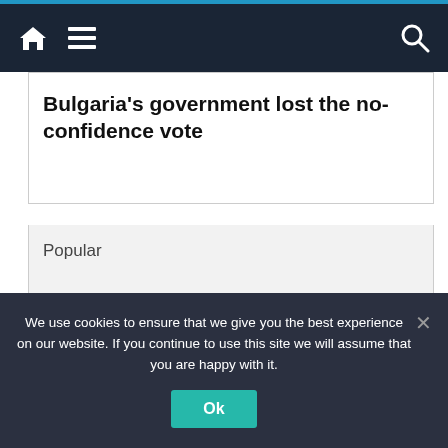Navigation bar with home, menu, and search icons
Bulgaria's government lost the no-confidence vote
Popular
Recent
We use cookies to ensure that we give you the best experience on our website. If you continue to use this site we will assume that you are happy with it.